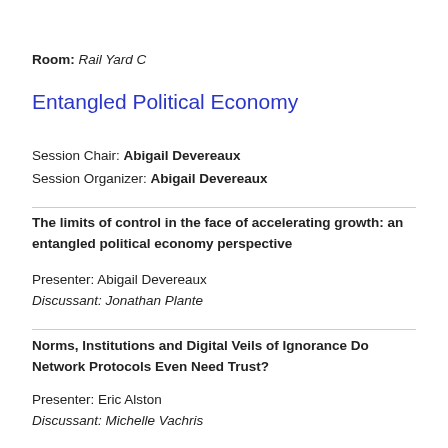Room: Rail Yard C
Entangled Political Economy
Session Chair: Abigail Devereaux
Session Organizer: Abigail Devereaux
The limits of control in the face of accelerating growth: an entangled political economy perspective
Presenter: Abigail Devereaux
Discussant: Jonathan Plante
Norms, Institutions and Digital Veils of Ignorance Do Network Protocols Even Need Trust?
Presenter: Eric Alston
Discussant: Michelle Vachris